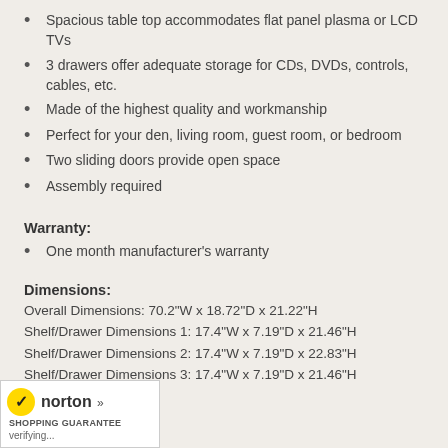Spacious table top accommodates flat panel plasma or LCD TVs
3 drawers offer adequate storage for CDs, DVDs, controls, cables, etc.
Made of the highest quality and workmanship
Perfect for your den, living room, guest room, or bedroom
Two sliding doors provide open space
Assembly required
Warranty:
One month manufacturer's warranty
Dimensions:
Overall Dimensions: 70.2"W x 18.72"D x 21.22"H
Shelf/Drawer Dimensions 1: 17.4"W x 7.19"D x 21.46"H
Shelf/Drawer Dimensions 2: 17.4"W x 7.19"D x 22.83"H
Shelf/Drawer Dimensions 3: 17.4"W x 7.19"D x 21.46"H